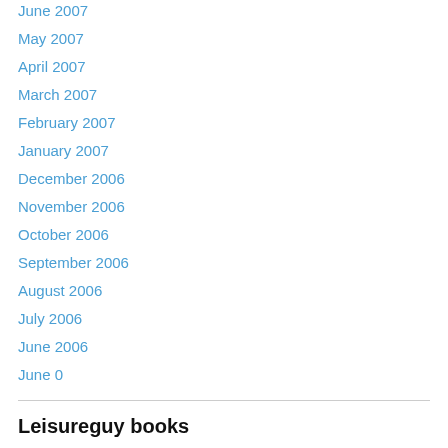June 2007
May 2007
April 2007
March 2007
February 2007
January 2007
December 2006
November 2006
October 2006
September 2006
August 2006
July 2006
June 2006
June 0
Leisureguy books
[Figure (other): Book cover image with text LEISUREGUY'S]